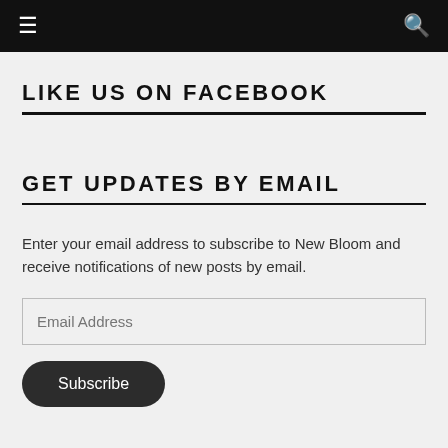≡  🔍
LIKE US ON FACEBOOK
GET UPDATES BY EMAIL
Enter your email address to subscribe to New Bloom and receive notifications of new posts by email.
Email Address
Subscribe